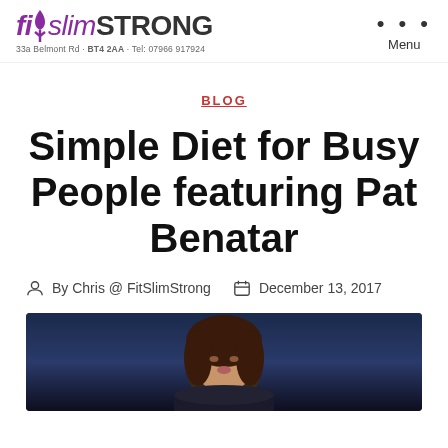fitslimSTRONG — 33a Belmont Rd · BT4 2AA · Tel: 07966 917924 | Menu
BLOG
Simple Diet for Busy People featuring Pat Benatar
By Chris @ FitSlimStrong   December 13, 2017
[Figure (photo): Photo of Pat Benatar, dark background portrait]